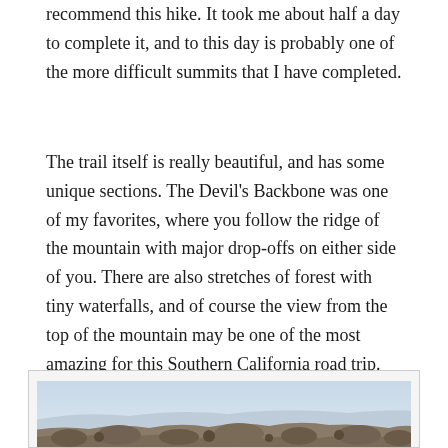recommend this hike. It took me about half a day to complete it, and to this day is probably one of the more difficult summits that I have completed.
The trail itself is really beautiful, and has some unique sections. The Devil’s Backbone was one of my favorites, where you follow the ridge of the mountain with major drop-offs on either side of you. There are also stretches of forest with tiny waterfalls, and of course the view from the top of the mountain may be one of the most amazing for this Southern California road trip.
[Figure (photo): A photograph showing a rocky mountain summit or ridge with large boulders in the foreground against a hazy sky, with distant mountains visible in the background.]